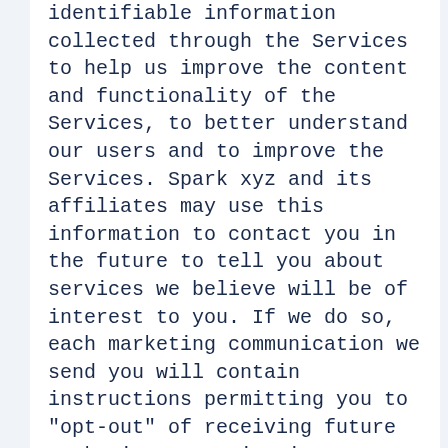identifiable information collected through the Services to help us improve the content and functionality of the Services, to better understand our users and to improve the Services. Spark xyz and its affiliates may use this information to contact you in the future to tell you about services we believe will be of interest to you. If we do so, each marketing communication we send you will contain instructions permitting you to "opt-out" of receiving future marketing communications. In addition, if at any time you wish not to receive any future marketing communications or you wish to have your name deleted from our mailing lists, please contact us as indicated below.
Additionally, we may use the information we collect to: